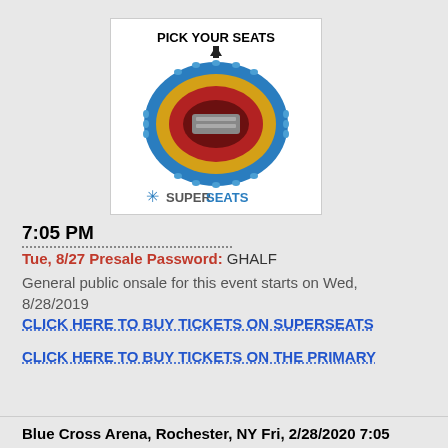[Figure (infographic): SuperSeats arena seating map with 'PICK YOUR SEATS' text and arrow pointing down to an oval arena diagram with colored sections (blue outer ring, gold middle ring, red inner sections, gray center stage), and SuperSeats logo at bottom]
7:05 PM
Tue, 8/27 Presale Password: GHALF
General public onsale for this event starts on Wed, 8/28/2019
CLICK HERE TO BUY TICKETS ON SUPERSEATS
CLICK HERE TO BUY TICKETS ON THE PRIMARY
Blue Cross Arena, Rochester, NY Fri, 2/28/2020 7:05